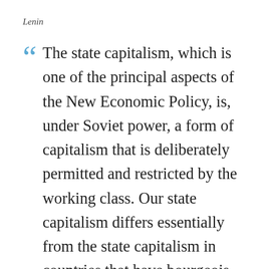Lenin
The state capitalism, which is one of the principal aspects of the New Economic Policy, is, under Soviet power, a form of capitalism that is deliberately permitted and restricted by the working class. Our state capitalism differs essentially from the state capitalism in countries that have bourgeois governments in that the state with us is represented not by the